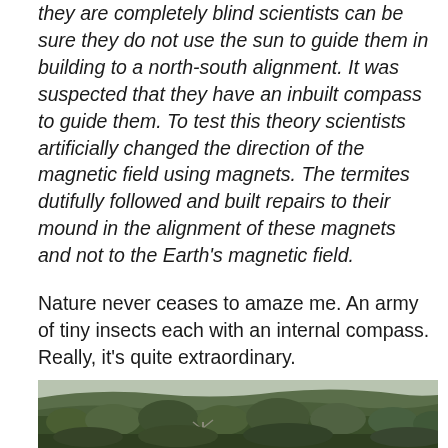they are completely blind scientists can be sure they do not use the sun to guide them in building to a north-south alignment. It was suspected that they have an inbuilt compass to guide them. To test this theory scientists artificially changed the direction of the magnetic field using magnets. The termites dutifully followed and built repairs to their mound in the alignment of these magnets and not to the Earth's magnetic field.
Nature never ceases to amaze me. An army of tiny insects each with an internal compass. Really, it's quite extraordinary.
[Figure (photo): Aerial landscape photograph showing a forested area with trees and shrubs in the foreground and rolling tree-covered hills in the background under an overcast sky.]